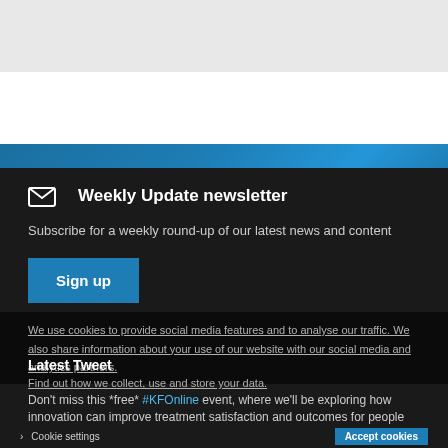[Figure (other): White top section placeholder]
Got a question? Ask a librarian ›
Weekly Update newsletter
Subscribe for a weekly round-up of our latest news and content
Sign up
We use cookies to provide social media features and to analyse our traffic. We also share information about your use of our website with our social media and analytics partners.
Latest Tweet
Find out how we collect, use and store your data.
Don't miss this *free* #KFOnline event, where we'll be exploring how innovation can improve treatment satisfaction and outcomes for people with #LongTermConditions Book your place now:
› Cookie settings    Accept cookies